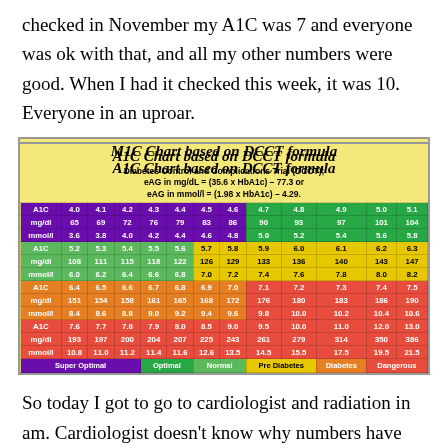checked in November my A1C was 7 and everyone was ok with that, and all my other numbers were good. When I had it checked this week, it was 10. Everyone in an uproar.
[Figure (table-as-image): A1C Chart based on DCCT formula showing A1C values from 4.0 to 13.0 with corresponding mg/dl and mmol/l values, color-coded by diabetes risk category: Super Optimal (purple), Optimal (green), Normal (light green), Pre Diabetes (yellow), Diabetes (orange), Dangerous (red).]
So today I got to go to cardiologist and radiation in am. Cardiologist doesn't know why numbers have gone crazy. Had an appointment with endocrinologist this